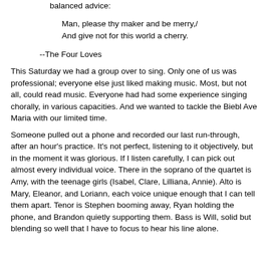balanced advice:
Man, please thy maker and be merry,/
And give not for this world a cherry.
--The Four Loves
This Saturday we had a group over to sing. Only one of us was professional; everyone else just liked making music. Most, but not all, could read music. Everyone had had some experience singing chorally, in various capacities. And we wanted to tackle the Biebl Ave Maria with our limited time.
Someone pulled out a phone and recorded our last run-through, after an hour's practice. It's not perfect, listening to it objectively, but in the moment it was glorious. If I listen carefully, I can pick out almost every individual voice. There in the soprano of the quartet is Amy, with the teenage girls (Isabel, Clare, Lilliana, Annie). Alto is Mary, Eleanor, and Loriann, each voice unique enough that I can tell them apart. Tenor is Stephen booming away, Ryan holding the phone, and Brandon quietly supporting them. Bass is Will, solid but blending so well that I have to focus to hear his line alone.